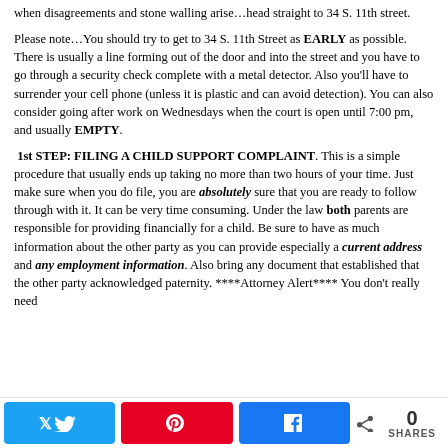when disagreements and stone walling arise…head straight to 34 S. 11th street.
Please note…You should try to get to 34 S. 11th Street as EARLY as possible. There is usually a line forming out of the door and into the street and you have to go through a security check complete with a metal detector. Also you'll have to surrender your cell phone (unless it is plastic and can avoid detection). You can also consider going after work on Wednesdays when the court is open until 7:00 pm, and usually EMPTY.
1st STEP: FILING A CHILD SUPPORT COMPLAINT. This is a simple procedure that usually ends up taking no more than two hours of your time. Just make sure when you do file, you are absolutely sure that you are ready to follow through with it. It can be very time consuming. Under the law both parents are responsible for providing financially for a child. Be sure to have as much information about the other party as you can provide especially a current address and any employment information. Also bring any document that established that the other party acknowledged paternity. ****Attorney Alert**** You don't really need
[Figure (infographic): Social share bar with Twitter, Pinterest, Facebook buttons and share count of 0]